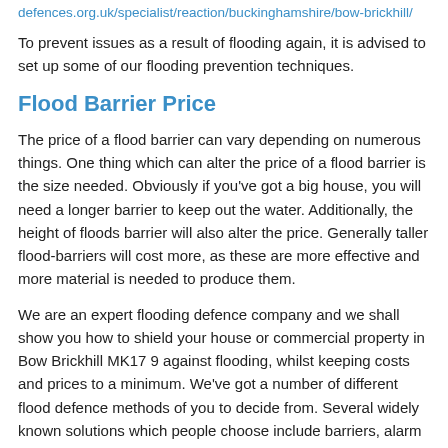defences.org.uk/specialist/reaction/buckinghamshire/bow-brickhill/
To prevent issues as a result of flooding again, it is advised to set up some of our flooding prevention techniques.
Flood Barrier Price
The price of a flood barrier can vary depending on numerous things. One thing which can alter the price of a flood barrier is the size needed. Obviously if you've got a big house, you will need a longer barrier to keep out the water. Additionally, the height of floods barrier will also alter the price. Generally taller flood-barriers will cost more, as these are more effective and more material is needed to produce them.
We are an expert flooding defence company and we shall show you how to shield your house or commercial property in Bow Brickhill MK17 9 against flooding, whilst keeping costs and prices to a minimum. We've got a number of different flood defence methods of you to decide from. Several widely known solutions which people choose include barriers, alarm systems, flood doors along with sand bags. Having a number of different possibilities means you can choose one that will be best for you. Our specialists